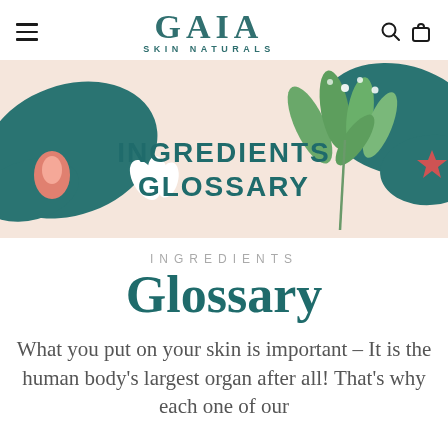GAIA SKIN NATURALS
[Figure (illustration): Decorative banner with teal hand holding leaves on left, botanical plant illustration on right with teal and coral elements, on a light pink/peach background. Bold text overlay reads INGREDIENTS GLOSSARY in teal.]
INGREDIENTS
Glossary
What you put on your skin is important – It is the human body's largest organ after all! That's why each one of our